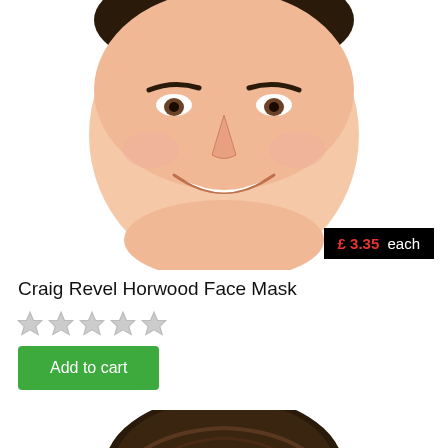[Figure (photo): A smiling man's face cutout/face mask product photo on white background, showing from approximately the top of the head to the chin.]
£ 3.35 each
Craig Revel Horwood Face Mask
[Figure (other): Five empty/grey star rating icons]
Add to cart
[Figure (photo): Top portion of a second face mask product photo showing dark hair on white background, cropped at the bottom of the page.]